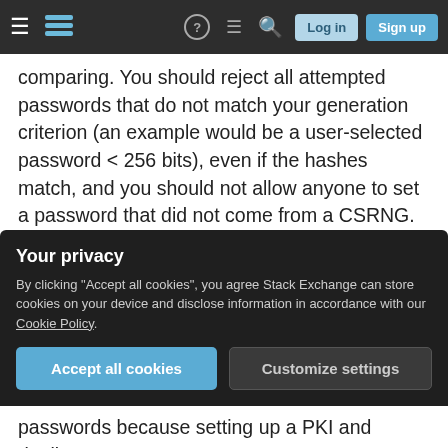Stack Exchange navigation bar with hamburger menu, logo, help, chat, search icons, Log in and Sign up buttons
comparing. You should reject all attempted passwords that do not match your generation criterion (an example would be a user-selected password < 256 bits), even if the hashes match, and you should not allow anyone to set a password that did not come from a CSRNG. This should be documented. Even better is if you add some obscure checksum byte at the end of the passwords that you generate that is verified by the platform before it allows you to set the password. This should deter all but the most hilariously incompetent people
Your privacy
By clicking "Accept all cookies", you agree Stack Exchange can store cookies on your device and disclose information in accordance with our Cookie Policy.
Accept all cookies
Customize settings
passwords because setting up a PKI and dealing